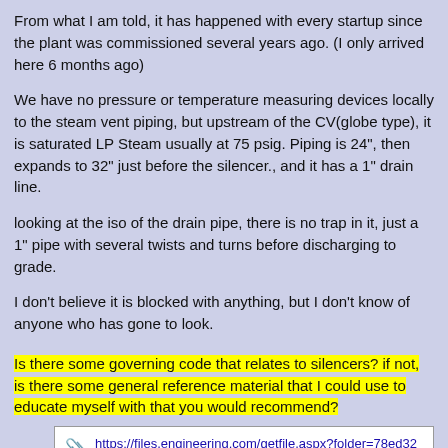From what I am told, it has happened with every startup since the plant was commissioned several years ago. (I only arrived here 6 months ago)
We have no pressure or temperature measuring devices locally to the steam vent piping, but upstream of the CV(globe type), it is saturated LP Steam usually at 75 psig. Piping is 24", then expands to 32" just before the silencer., and it has a 1" drain line.
looking at the iso of the drain pipe, there is no trap in it, just a 1" pipe with several twists and turns before discharging to grade.
I don't believe it is blocked with anything, but I don't know of anyone who has gone to look.
Is there some governing code that relates to silencers? if not, is there some general reference material that I could use to educate myself with that you would recommend?
https://files.engineering.com/getfile.aspx?folder=78ed32c0-350a-48e1-bb3a-1
TBP (Mechanical) 5 Nov 21 19:38
Is this the correct unit for your operating conditions? Was it installed according the manufacturer's instructions?
The "several twists and turns" on the drain piping could be an issue. Any